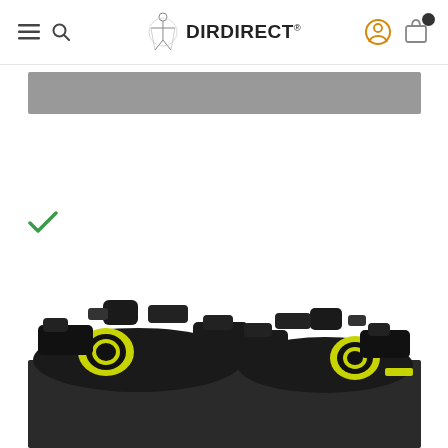DIRDIRECT
[Figure (screenshot): E-commerce website screenshot showing DirDirect logo navigation header with hamburger menu, search icon, user icon, and cart icon with notification badge]
[Figure (other): Gray navigation/filter banner bar]
[Figure (other): Green checkmark icon]
[Figure (photo): Product photo showing two black ski bindings with yellow-green accents, partially visible above a dark gray bar at the bottom of the page]